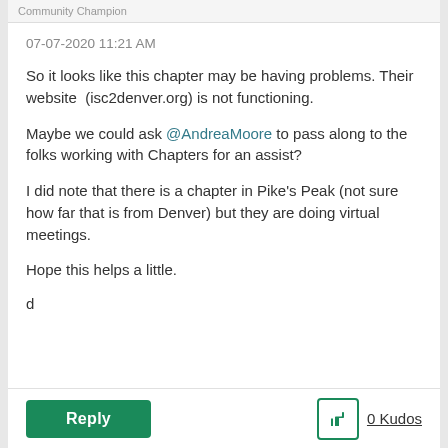Community Champion
07-07-2020 11:21 AM
So it looks like this chapter may be having problems. Their website  (isc2denver.org) is not functioning.
Maybe we could ask @AndreaMoore to pass along to the folks working with Chapters for an assist?
I did note that there is a chapter in Pike's Peak (not sure how far that is from Denver) but they are doing virtual meetings.
Hope this helps a little.
d
Reply   0 Kudos